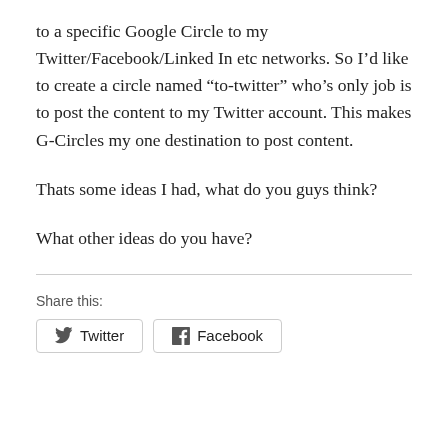to a specific Google Circle to my Twitter/Facebook/Linked In etc networks. So I’d like to create a circle named “to-twitter” who’s only job is to post the content to my Twitter account. This makes G-Circles my one destination to post content.
Thats some ideas I had, what do you guys think?
What other ideas do you have?
Share this:
[Figure (other): Share buttons for Twitter and Facebook]